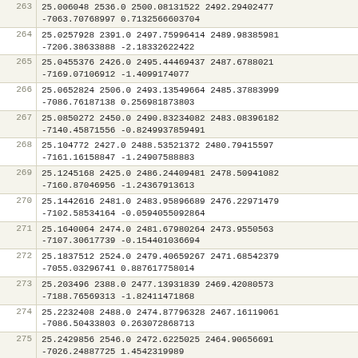| index | data |
| --- | --- |
| 263 | 25.006048 2536.0 2500.08131522 2492.29402477
-7063.70768997 0.7132566603704 |
| 264 | 25.0257928 2391.0 2497.75996414 2489.98385981
-7206.38633888 -2.18332622422 |
| 265 | 25.0455376 2426.0 2495.44469437 2487.6788021
-7169.07106912 -1.4099174077 |
| 266 | 25.0652824 2506.0 2493.13549664 2485.37883999
-7086.76187138 0.256981873803 |
| 267 | 25.0850272 2450.0 2490.83234082 2483.08396182
-7140.45871556 -0.8249937859491 |
| 268 | 25.104772 2427.0 2488.53521372 2480.79415597
-7161.16158847 -1.24907588883 |
| 269 | 25.1245168 2425.0 2486.24409481 2478.50941082
-7160.87046956 -1.24367913613 |
| 270 | 25.1442616 2481.0 2483.95896689 2476.22971479
-7102.58534164 -0.0594055092864 |
| 271 | 25.1640064 2474.0 2481.67980264 2473.9550563
-7107.30617739 -0.154401036694 |
| 272 | 25.1837512 2524.0 2479.40659267 2471.68542379
-7055.03296741 0.887617758014 |
| 273 | 25.203496 2388.0 2477.13931839 2469.42080573
-7188.76569313 -1.82411471868 |
| 274 | 25.2232408 2488.0 2474.87796328 2467.16119061
-7086.50433803 0.263072868713 |
| 275 | 25.2429856 2546.0 2472.6225025 2464.90656691
-7026.24887725 1.4542319989 |
| 276 | 25.2627304 2432.0 2470.37292933 2462.65692317
-7137.99930408 -0.778113891164 |
| 277 | 25.2824752 2465.0 2468.12922325 2460.41224792
-7102.755598 -0.0630272106074 |
| 278 | 25.30222 2397.0 2465.89137079 2458.17252972
-7168.51774554 -1.40711894202 |
| 279 | 25.3219648 2517.0 2463.65935599 2455.93775713
-7046.28573074 1.06320411064 |
| 280 | 25.3417096 2430.0 2461.43315911 2453.70791876 |